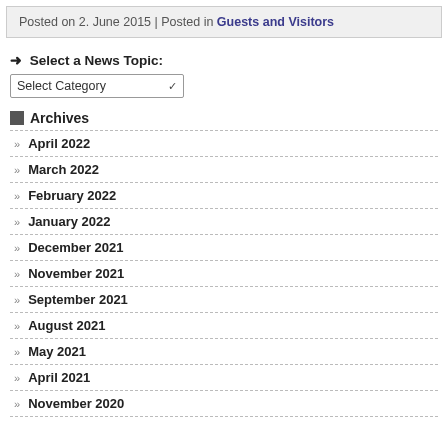Posted on 2. June 2015 | Posted in Guests and Visitors
Select a News Topic:
Select Category
Archives
April 2022
March 2022
February 2022
January 2022
December 2021
November 2021
September 2021
August 2021
May 2021
April 2021
November 2020